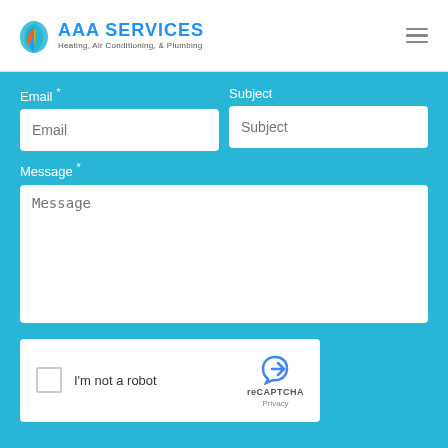AAA SERVICES Heating, Air Conditioning, & Plumbing
Email *
Subject
Message *
[Figure (screenshot): reCAPTCHA widget with checkbox and 'I'm not a robot' text, reCAPTCHA logo and Privacy link]